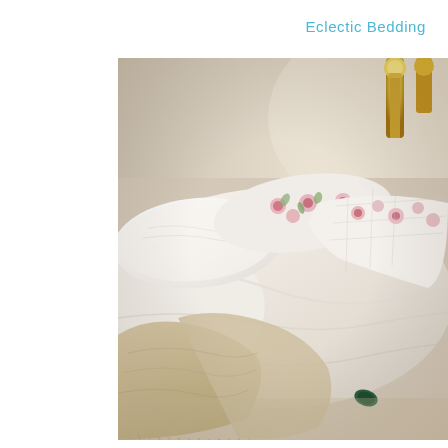Eclectic Bedding
[Figure (photo): A close-up photograph of a bed with eclectic bedding: white linen pillows and a disheveled white duvet in the foreground, a floral pink and green patterned pillow and quilt in the background, a cream woolen fringed throw draped over the front, and gold brass bedposts visible in the upper right corner. The room has warm beige walls and natural lighting.]